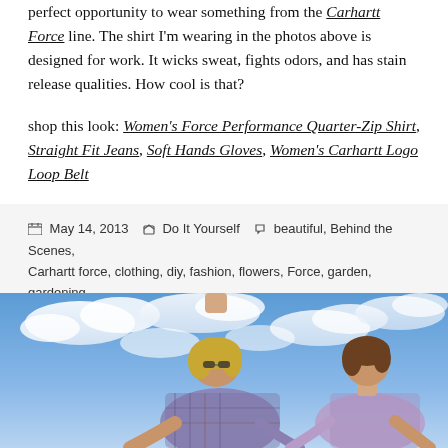perfect opportunity to wear something from the Carhartt Force line. The shirt I'm wearing in the photos above is designed for work. It wicks sweat, fights odors, and has stain release qualities. How cool is that?
shop this look: Women's Force Performance Quarter-Zip Shirt, Straight Fit Jeans, Soft Hands Gloves, Women's Carhartt Logo Loop Belt
May 14, 2013   Do It Yourself   beautiful, Behind the Scenes, Carhartt force, clothing, diy, fashion, flowers, Force, garden, gardening, get outside, girls rule, handcrafted, nature, outdoors, painting, photography, photos, spring, style, work
[Figure (photo): Two women outdoors leaning forward, working on something, with blue sky and clouds in the background. One wearing a plaid shirt, one wearing a lavender top.]